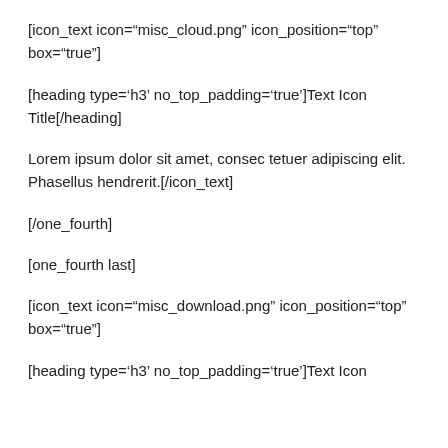[icon_text icon="misc_cloud.png" icon_position="top" box="true"]
[heading type='h3' no_top_padding='true']Text Icon Title[/heading]
Lorem ipsum dolor sit amet, consec tetuer adipiscing elit. Phasellus hendrerit.[/icon_text]
[/one_fourth]
[one_fourth last]
[icon_text icon="misc_download.png" icon_position="top" box="true"]
[heading type='h3' no_top_padding='true']Text Icon